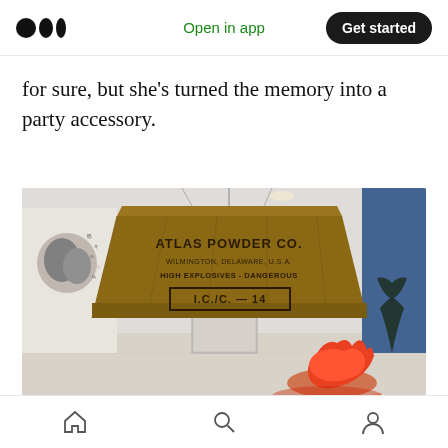Medium logo | Open in app | Get started
for sure, but she's turned the memory into a party accessory.
[Figure (photo): Art installation in a gallery: a large wooden crate labeled 'ATLAS POWDER CO. WILMINGTON, DELAWARE, U.S.A. HIGH EXPLOSIVES - DANGEROUS I.C./C. - 14' suspended from the ceiling, with an orange plastic material pooled on the floor beneath and to the right. A black-and-white image with text is on the left wall. Blue window visible on the right.]
Home | Search | Profile